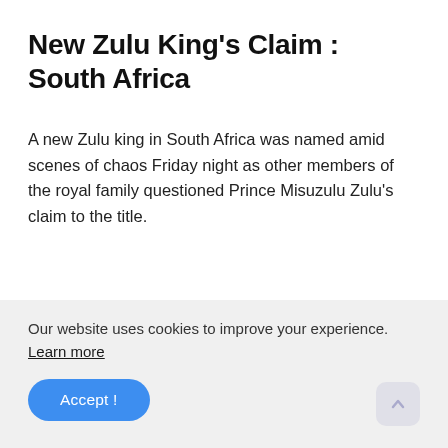New Zulu King's Claim : South Africa
A new Zulu king in South Africa was named amid scenes of chaos Friday night as other members of the royal family questioned Prince Misuzulu Zulu's claim to the title.
Our website uses cookies to improve your experience. Learn more
Accept !